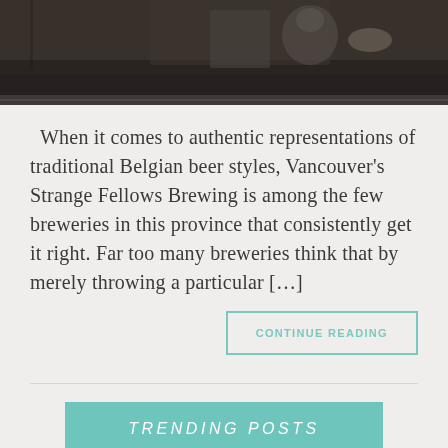[Figure (photo): Top portion of a photo showing dark wooden table surface with bottles/glassware, cropped at top of page]
When it comes to authentic representations of traditional Belgian beer styles, Vancouver's Strange Fellows Brewing is among the few breweries in this province that consistently get it right. Far too many breweries think that by merely throwing a particular […]
CONTINUE READING
TRENDING POSTS